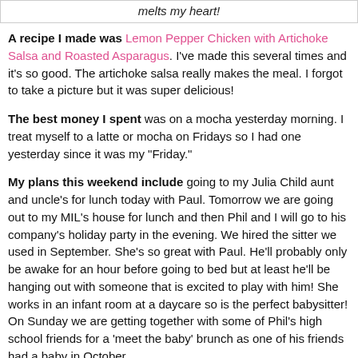melts my heart!
A recipe I made was Lemon Pepper Chicken with Artichoke Salsa and Roasted Asparagus. I've made this several times and it's so good. The artichoke salsa really makes the meal. I forgot to take a picture but it was super delicious!
The best money I spent was on a mocha yesterday morning. I treat myself to a latte or mocha on Fridays so I had one yesterday since it was my "Friday."
My plans this weekend include going to my Julia Child aunt and uncle's for lunch today with Paul. Tomorrow we are going out to my MIL's house for lunch and then Phil and I will go to his company's holiday party in the evening. We hired the sitter we used in September. She's so great with Paul. He'll probably only be awake for an hour before going to bed but at least he'll be hanging out with someone that is excited to play with him! She works in an infant room at a daycare so is the perfect babysitter! On Sunday we are getting together with some of Phil's high school friends for a 'meet the baby' brunch as one of his friends had a baby in October.